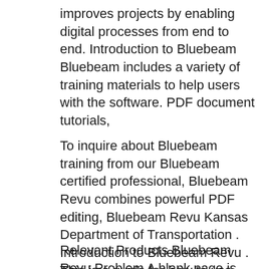improves projects by enabling digital processes from end to end. Introduction to Bluebeam Bluebeam includes a variety of training materials to help users with the software. PDF document tutorials,
To inquire about Bluebeam training from our Bluebeam certified professional, Bluebeam Revu combines powerful PDF editing, Bluebeam Revu Kansas Department of Transportation . Introduction to Bluebeam Revu . This is a guide for how to use Bluebeam Revu for your PDF markup and collaboration
Relevant Products Bluebeam Revu Problem A blank page is created when